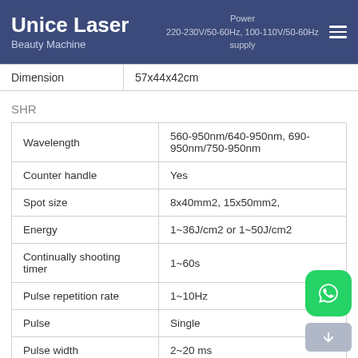Unice Laser Beauty Machine | Power supply: 220-230V/50-60Hz, 100-110V/50-60Hz
| Dimension | 57x44x42cm |
| --- | --- |
SHR
| Parameter | Value |
| --- | --- |
| Wavelength | 560-950nm/640-950nm, 690-950nm/750-950nm |
| Counter handle | Yes |
| Spot size | 8x40mm2, 15x50mm2, |
| Energy | 1~36J/cm2 or 1~50J/cm2 |
| Continually shooting timer | 1~60s |
| Pulse repetition rate | 1~10Hz |
| Pulse | Single |
| Pulse width | 2~20 ms |